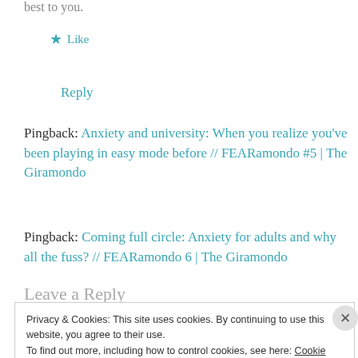best to you.
★ Like
Reply
Pingback: Anxiety and university: When you realize you've been playing in easy mode before // FEARamondo #5 | The Giramondo
Pingback: Coming full circle: Anxiety for adults and why all the fuss? // FEARamondo 6 | The Giramondo
Leave a Reply
Privacy & Cookies: This site uses cookies. By continuing to use this website, you agree to their use. To find out more, including how to control cookies, see here: Cookie Policy
Close and accept